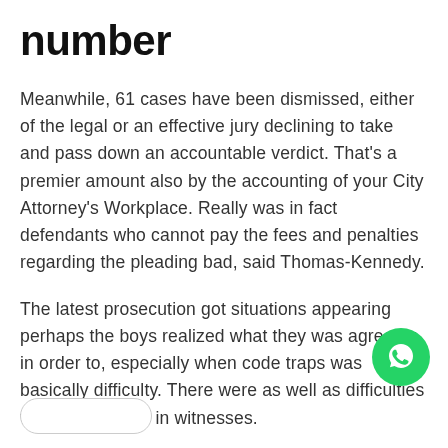number
Meanwhile, 61 cases have been dismissed, either of the legal or an effective jury declining to take and pass down an accountable verdict. That's a premier amount also by the accounting of your City Attorney's Workplace. Really was in fact defendants who cannot pay the fees and penalties regarding the pleading bad, said Thomas-Kennedy.
The latest prosecution got situations appearing perhaps the boys realized what they was agreeing in order to, especially when code traps was basically difficulty. There were as well as difficulties with deficiencies in witnesses.
[Figure (logo): WhatsApp green circular button icon]